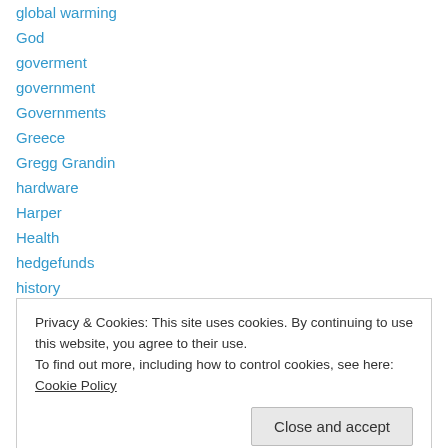global warming
God
goverment
government
Governments
Greece
Gregg Grandin
hardware
Harper
Health
hedgefunds
history
House of Commons
Privacy & Cookies: This site uses cookies. By continuing to use this website, you agree to their use.
To find out more, including how to control cookies, see here: Cookie Policy
humor